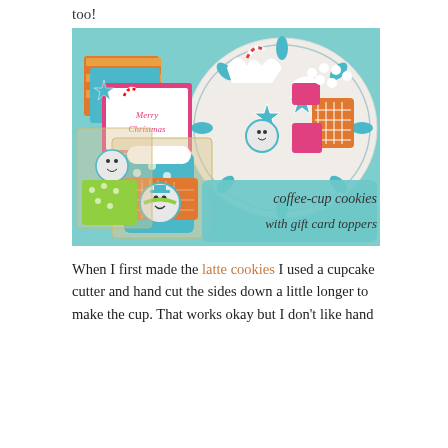too!
[Figure (photo): Photo of decorated Christmas cookies including coffee-cup cookies and gift card toppers arranged on a plate and in cellophane bags. Text overlay reads 'coffee-cup cookies with gift card toppers'.]
When I first made the latte cookies I used a cupcake cutter and hand cut the sides down a little longer to make the cup.  That works okay but I don't like hand